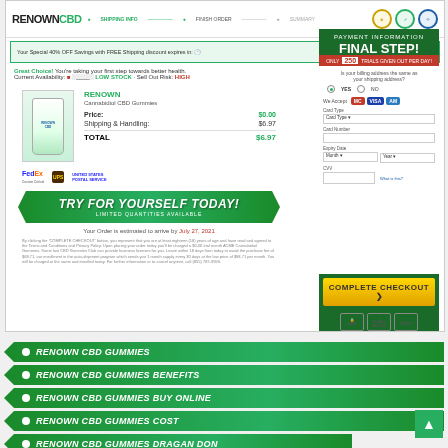[Figure (screenshot): Renown CBD Gummies order checkout page screenshot showing product, pricing, payment form with timer countdown, shipping info, and CTA buttons]
RENOWN CBD GUMMIES
RENOWN CBD GUMMIES BENEFITS
RENOWN CBD GUMMIES BUY ONLINE
RENOWN CBD GUMMIES COST
RENOWN CBD GUMMIES DRAGAN DON